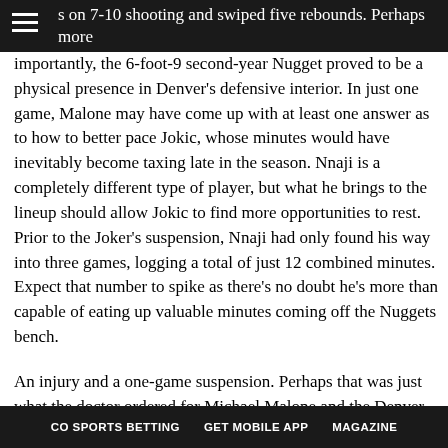s on 7-10 shooting and swiped five rebounds. Perhaps more
s on 7-10 shooting and swiped five rebounds. Perhaps more importantly, the 6-foot-9 second-year Nugget proved to be a physical presence in Denver’s defensive interior. In just one game, Malone may have come up with at least one answer as to how to better pace Jokic, whose minutes would have inevitably become taxing late in the season. Nnaji is a completely different type of player, but what he brings to the lineup should allow Jokic to find more opportunities to rest. Prior to the Joker’s suspension, Nnaji had only found his way into three games, logging a total of just 12 combined minutes. Expect that number to spike as there’s no doubt he’s more than capable of eating up valuable minutes coming off the Nuggets bench.

An injury and a one-game suspension. Perhaps that was just what the doctor ordered for Michael Malone and the Denver Nuggets. Presumable a negative, the absence of Michael Porter Jr. and
CO SPORTS BETTING   GET MOBILE APP   MAGAZINE